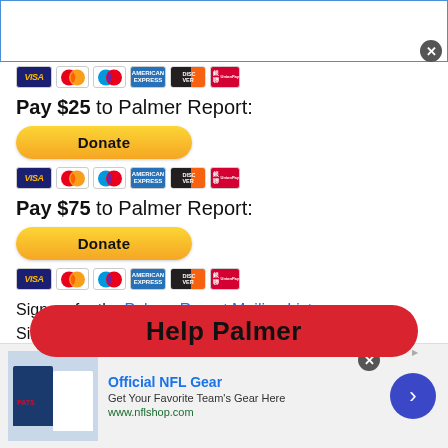[Figure (other): White ad overlay area with blue border at top of page, with close (X) button]
[Figure (other): Payment card icons strip: Visa, Mastercard, Maestro, American Express, Discover, UnionPay]
Pay $25 to Palmer Report:
[Figure (other): Yellow PayPal Donate button]
[Figure (other): Payment card icons strip: Visa, Mastercard, Maestro, American Express, Discover, UnionPay]
Pay $75 to Palmer Report:
[Figure (other): Yellow PayPal Donate button]
[Figure (other): Payment card icons strip: Visa, Mastercard, Maestro, American Express, Discover, UnionPay]
Sign up for the Palmer Report Mailing List. Since m...two
[Figure (other): Red rounded banner overlay with bold text 'Help Palmer']
[Figure (other): Bottom advertisement banner: Official NFL Gear - Get Your Favorite Team's Gear Here - www.nflshop.com, with jersey photo and navigation arrow]